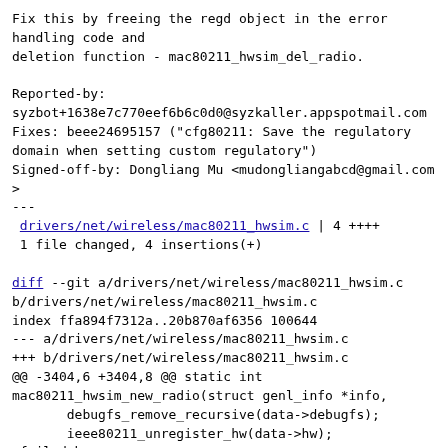Fix this by freeing the regd object in the error handling code and
deletion function - mac80211_hwsim_del_radio.

Reported-by:
syzbot+1638e7c770eef6b6c0d0@syzkaller.appspotmail.com
Fixes: beee24695157 ("cfg80211: Save the regulatory domain when setting custom regulatory")
Signed-off-by: Dongliang Mu <mudongliangabcd@gmail.com>
---
 drivers/net/wireless/mac80211_hwsim.c | 4 ++++
 1 file changed, 4 insertions(+)

diff --git a/drivers/net/wireless/mac80211_hwsim.c b/drivers/net/wireless/mac80211_hwsim.c
index ffa894f7312a..20b870af6356 100644
--- a/drivers/net/wireless/mac80211_hwsim.c
+++ b/drivers/net/wireless/mac80211_hwsim.c
@@ -3404,6 +3404,8 @@ static int mac80211_hwsim_new_radio(struct genl_info *info,
        debugfs_remove_recursive(data->debugfs);
        ieee80211_unregister_hw(data->hw);
 failed_hw:
+       if (param->regd)
+               kfree_rcu(get_wiphy_regdom(data->hw->wiphy));
        device_release_driver(data->dev);
 failed_bind:
        device_unregister(data->dev);
@@ -3454,6 +3456,8 @@ static void